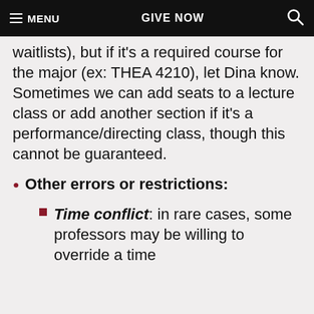MENU  GIVE NOW  🔍
waitlists), but if it's a required course for the major (ex: THEA 4210), let Dina know. Sometimes we can add seats to a lecture class or add another section if it's a performance/directing class, though this cannot be guaranteed.
Other errors or restrictions:
Time conflict: in rare cases, some professors may be willing to override a time